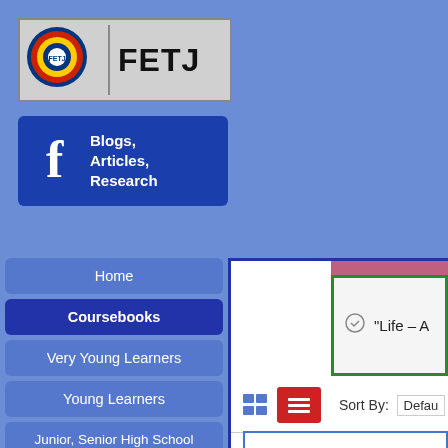[Figure (logo): FETJ logo with circular emblem on left and bold text FETJ on right, gray background with border]
[Figure (logo): Facebook-style banner with blue background, white F icon, and white bold text: Blogs, Articles, Research]
Home
Coursebooks
Very Young Learners
Young Learners
Junior, Senior High School
“Life – A
Sort By: Defau